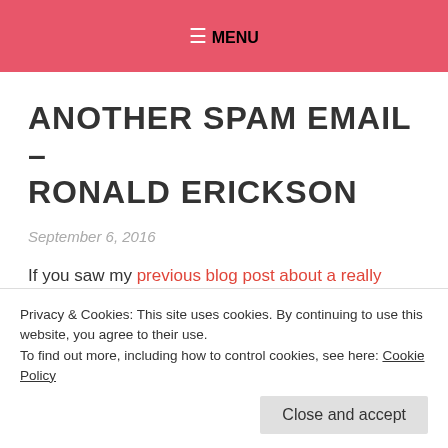≡ MENU
ANOTHER SPAM EMAIL – RONALD ERICKSON
September 6, 2016
If you saw my previous blog post about a really good spam email that nearly got me you'll know that writing about these can be really beneficial! Lots of people seem to Google the name/email address of the
Privacy & Cookies: This site uses cookies. By continuing to use this website, you agree to their use.
To find out more, including how to control cookies, see here: Cookie Policy